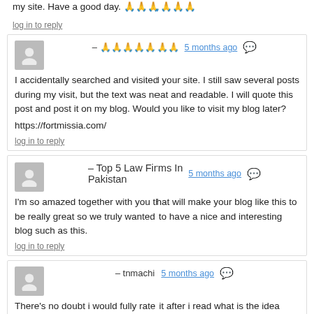my site. Have a good day. 🙏🙏🙏🙏🙏🙏
log in to reply
– 🙏🙏🙏🙏🙏🙏🙏  5 months ago
I accidentally searched and visited your site. I still saw several posts during my visit, but the text was neat and readable. I will quote this post and post it on my blog. Would you like to visit my blog later?
https://fortmissia.com/
log in to reply
– Top 5 Law Firms In Pakistan  5 months ago
I'm so amazed together with you that will make your blog like this to be really great so we truly wanted to have a nice and interesting blog such as this.
log in to reply
– tnmachi  5 months ago
There's no doubt i would fully rate it after i read what is the idea about this article. You did a nice job .
log in to reply